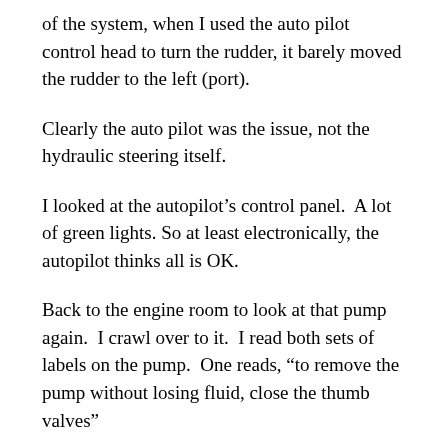of the system, when I used the auto pilot control head to turn the rudder, it barely moved the rudder to the left (port).
Clearly the auto pilot was the issue, not the hydraulic steering itself.
I looked at the autopilot’s control panel.  A lot of green lights. So at least electronically, the autopilot thinks all is OK.
Back to the engine room to look at that pump again.  I crawl over to it.  I read both sets of labels on the pump.  One reads, “to remove the pump without losing fluid, close the thumb valves”
What thumb valves?  Those brass “T” handles that